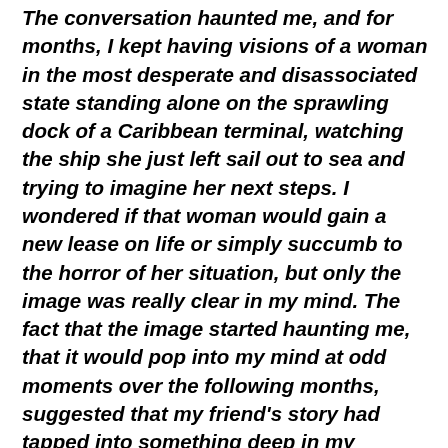The conversation haunted me, and for months, I kept having visions of a woman in the most desperate and disassociated state standing alone on the sprawling dock of a Caribbean terminal, watching the ship she just left sail out to sea and trying to imagine her next steps. I wondered if that woman would gain a new lease on life or simply succumb to the horror of her situation, but only the image was really clear in my mind. The fact that the image started haunting me, that it would pop into my mind at odd moments over the following months, suggested that my friend's story had tapped into something deep in my psyche, my social consciousness, and my moral conscience, and that the image might be just one element in a larger vision or more extended story.

Seven years later, I completed a novel about the